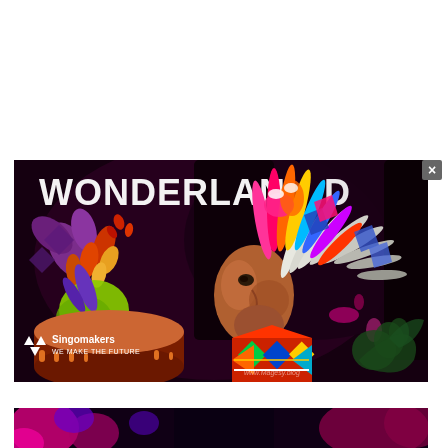[Figure (illustration): Colorful digital illustration showing a Native American chief in profile wearing a vibrant, multicolored feathered headdress. Background includes the word 'WONDERLAND' in white stylized text, with colorful tropical leaves in purple, red, orange, and yellow on the left. A drum is visible in the lower left. The Singomakers 'WE MAKE THE FUTURE' logo appears at the bottom left, and 'www.Magesy.blog' watermark is at the bottom right with a green dragon icon.]
[Figure (illustration): Partial view of another colorful digital illustration at the bottom, showing pink and purple shapes against a dark background — appears to be another music sample pack cover.]